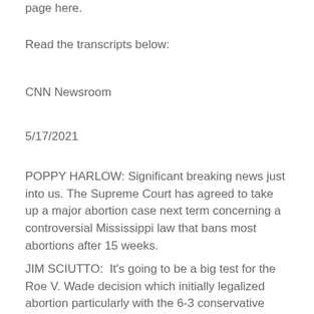page here.
Read the transcripts below:
CNN Newsroom
5/17/2021
POPPY HARLOW: Significant breaking news just into us. The Supreme Court has agreed to take up a major abortion case next term concerning a controversial Mississippi law that bans most abortions after 15 weeks.
JIM SCIUTTO:  It's going to be a big test for the Roe V. Wade decision which initially legalized abortion particularly with the 6-3 conservative makeup of the court. Joining us CNN Justice